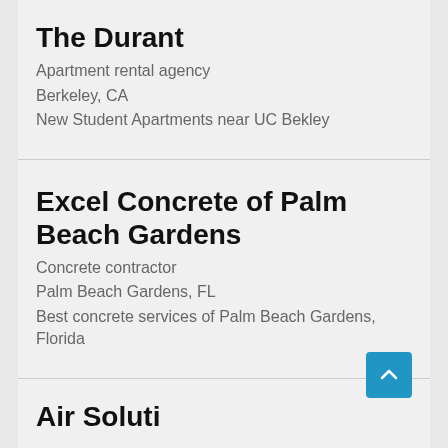The Durant
Apartment rental agency
Berkeley, CA
New Student Apartments near UC Bekley
Excel Concrete of Palm Beach Gardens
Concrete contractor
Palm Beach Gardens, FL
Best concrete services of Palm Beach Gardens, Florida
Air Soluti…